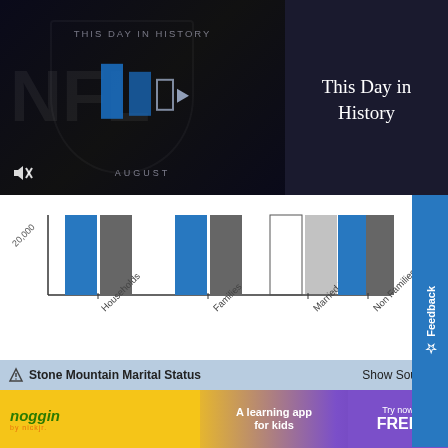[Figure (screenshot): Video player thumbnail showing 'This Day in History' with play button and AUGUST label, dark background with NFL watermark]
This Day in History
[Figure (grouped-bar-chart): ]
Stone Mountain Marital Status
Show Sou
[Figure (photo): Noggin by Nick Jr. advertisement - A learning app for kids, Try now FREE]